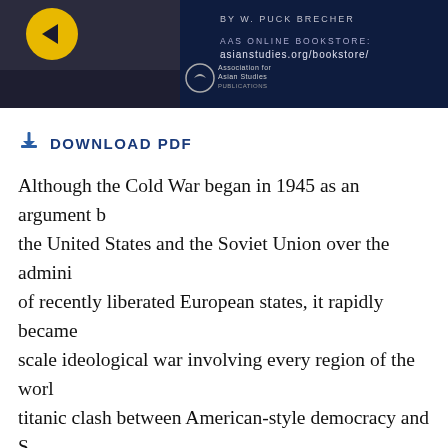[Figure (illustration): Advertisement banner for AAS (Association for Asian Studies) Publications showing a book cover with yellow circle graphic element and author credit 'BY W. PUCK BRECHER', along with AAS Online Bookstore URL asianstudies.org/bookstore/]
DOWNLOAD PDF
Although the Cold War began in 1945 as an argument between the United States and the Soviet Union over the administration of recently liberated European states, it rapidly became a global-scale ideological war involving every region of the world. The titanic clash between American-style democracy and Soviet-style communism always determined the abstract contours of the Cold War, but in the sites where the struggle was concretely fought—the Middle East, Latin America, and Northeast Asia— the Cold War was never as orderly as its superpower managers